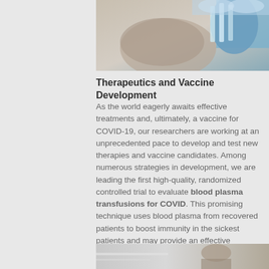[Figure (photo): Laboratory researcher wearing blue gloves handling scientific equipment or test tubes]
Therapeutics and Vaccine Development
As the world eagerly awaits effective treatments and, ultimately, a vaccine for COVID-19, our researchers are working at an unprecedented pace to develop and test new therapies and vaccine candidates. Among numerous strategies in development, we are leading the first high-quality, randomized controlled trial to evaluate blood plasma transfusions for COVID. This promising technique uses blood plasma from recovered patients to boost immunity in the sickest patients and may provide an effective treatment option.
[Figure (photo): Medical or clinical setting showing a person receiving treatment]